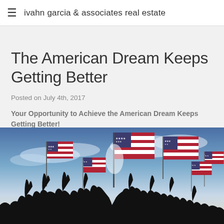≡  ivahn garcia & associates real estate
The American Dream Keeps Getting Better
Posted on July 4th, 2017
Your Opportunity to Achieve the American Dream Keeps Getting Better!
[Figure (photo): Silhouettes of people raising hands holding American flags against a dramatic sky with sunlight and clouds]